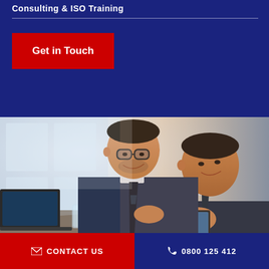Consulting & ISO Training
Get in Touch
[Figure (photo): Two businessmen in suits sitting at a table with a laptop and tablet, looking at documents together and smiling]
✉ CONTACT US   ✆ 0800 125 412